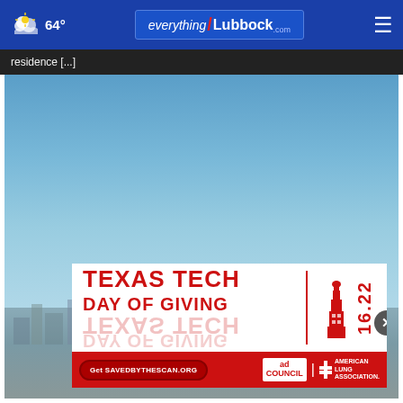64° everything/Lubbock.com
residence [...]
[Figure (photo): Aerial or wide-angle photo of Lubbock skyline under a clear blue sky]
[Figure (infographic): Texas Tech Day of Giving advertisement overlay with red text on white background reading TEXAS TECH | DAY OF GIVING with a building icon and date 16.22]
[Figure (infographic): Bottom advertisement bar: Get SAVEDBYTHESCAN.ORG with Ad Council and American Lung Association logos]